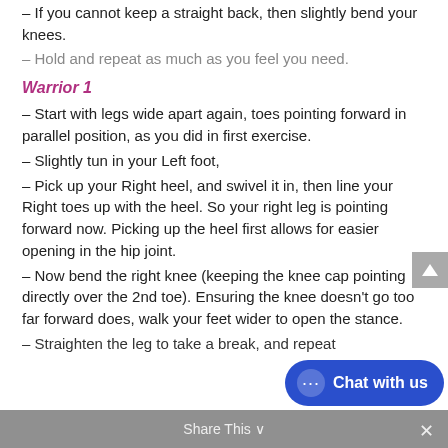– If you cannot keep a straight back, then slightly bend your knees.
– Hold and repeat as much as you feel you need.
Warrior 1
– Start with legs wide apart again, toes pointing forward in parallel position, as you did in first exercise.
– Slightly tun in your Left foot,
– Pick up your Right heel, and swivel it in, then line your Right toes up with the heel. So your right leg is pointing forward now. Picking up the heel first allows for easier opening in the hip joint.
– Now bend the right knee (keeping the knee cap pointing directly over the 2nd toe). Ensuring the knee doesn't go too far forward does, walk your feet wider to open the stance.
– Straighten the leg to take a break, and repeat